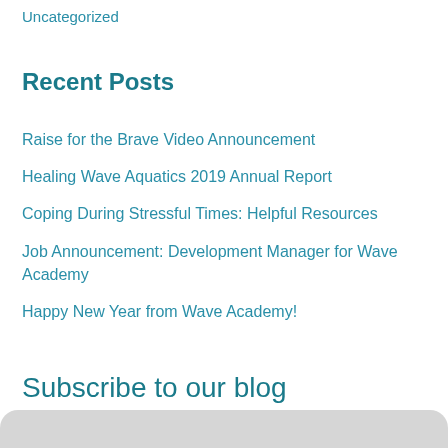Uncategorized
Recent Posts
Raise for the Brave Video Announcement
Healing Wave Aquatics 2019 Annual Report
Coping During Stressful Times: Helpful Resources
Job Announcement: Development Manager for Wave Academy
Happy New Year from Wave Academy!
Subscribe to our blog